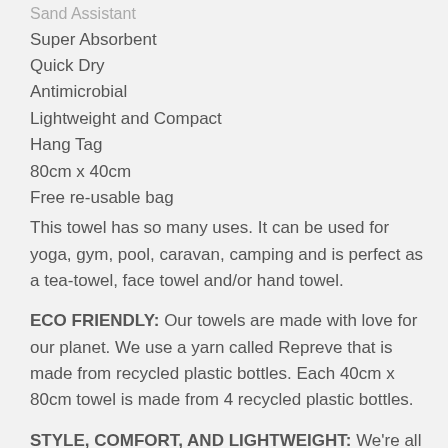Sand Assistant
Super Absorbent
Quick Dry
Antimicrobial
Lightweight and Compact
Hang Tag
80cm x 40cm
Free re-usable bag
This towel has so many uses. It can be used for yoga, gym, pool, caravan, camping and is perfect as a tea-towel, face towel and/or hand towel.
ECO FRIENDLY: Our towels are made with love for our planet. We use a yarn called Repreve that is made from recycled plastic bottles. Each 40cm x 80cm towel is made from 4 recycled plastic bottles.
STYLE, COMFORT, AND LIGHTWEIGHT: We're all about comfort, style, and quality. Our 40cm x 80cm towels are